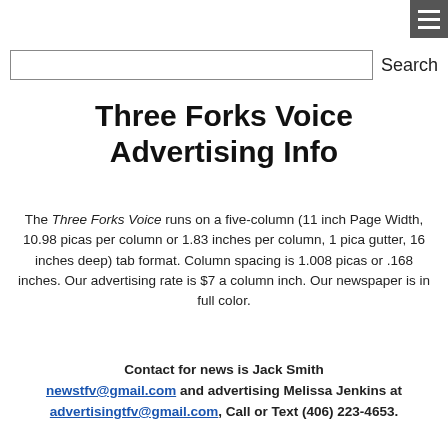[Figure (other): Hamburger menu icon button in top-right corner]
Search
Three Forks Voice Advertising Info
The Three Forks Voice runs on a five-column (11 inch Page Width, 10.98 picas per column or 1.83 inches per column, 1 pica gutter, 16 inches deep) tab format. Column spacing is 1.008 picas or .168 inches. Our advertising rate is $7 a column inch. Our newspaper is in full color.
Contact for news is Jack Smith newstfv@gmail.com and advertising Melissa Jenkins at advertisingtfv@gmail.com, Call or Text (406) 223-4653.